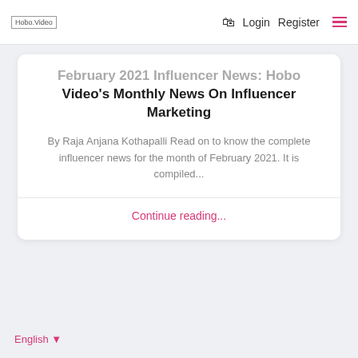Hobo.Video  Login  Register
February 2021 Influencer News: Hobo Video's Monthly News On Influencer Marketing
By Raja Anjana Kothapalli Read on to know the complete influencer news for the month of February 2021. It is compiled...
Continue reading...
English ▼